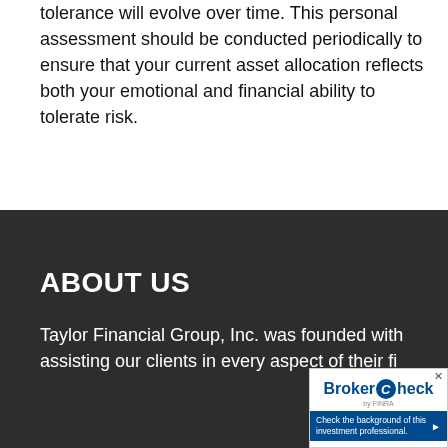tolerance will evolve over time. This personal assessment should be conducted periodically to ensure that your current asset allocation reflects both your emotional and financial ability to tolerate risk.
ABOUT US
Taylor Financial Group, Inc. was founded with assisting our clients in every aspect of their fi...
[Figure (logo): BrokerCheck by FINRA badge with 'Check the background of this investment professional.' text and a close button.]